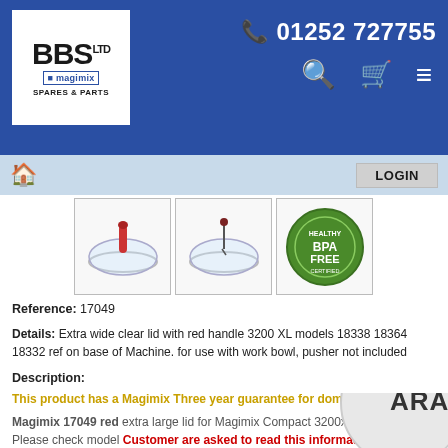BBS Ltd Magimix Spares & Parts | 01252 727755
[Figure (screenshot): Three product thumbnail images: a clear bowl lid with red handle, a similar lid with a dropper, and a BPA Free green certification badge]
Reference: 17049
Details: Extra wide clear lid with red handle 3200 XL models 18338 18364 18332 ref on base of Machine. for use with work bowl, pusher not included
Description:
This product has a Magimix Three year guarantee for domestic use
Magimix 17049 red extra large lid for Magimix Compact 3200xl food processor. Please check model Customer are asked to read this information before ordering this product. If the machine is turned upside down, the machine number will be on rectangular plate this should say the following models,
Magimix cuisine systeme 3200xl - 18338 18364 18332
If your machine is not above, it cannot be
[Figure (logo): Partial circular logo/badge at bottom right, showing letters ARA]